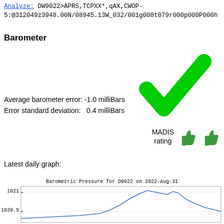Analyze: DW9022>APRS,TCPXX*,qAX,CWOP-5:@312049z3948.00N/08945.13W_032/001g008t079r000p000P000h
Barometer
[Figure (illustration): Large green checkmark symbol]
Average barometer error: -1.0 milliBars
Error standard deviation:   0.4 milliBars
[Figure (illustration): MADIS rating with two green thumbs-up icons]
Latest daily graph:
[Figure (continuous-plot): Barometric Pressure for D9022 on 2022-Aug-31, line chart showing pressure around 1020.5-1021 millibars]